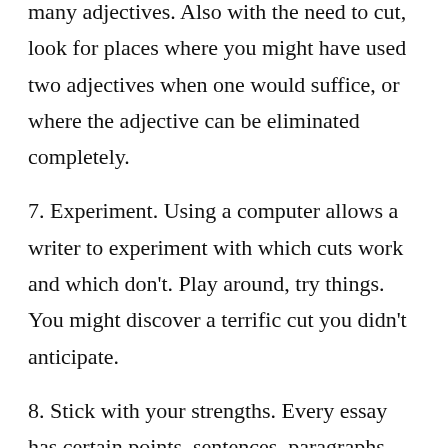many adjectives. Also with the need to cut, look for places where you might have used two adjectives when one would suffice, or where the adjective can be eliminated completely.
7. Experiment. Using a computer allows a writer to experiment with which cuts work and which don't. Play around, try things. You might discover a terrific cut you didn't anticipate.
8. Stick with your strengths. Every essay has certain points, sentences, paragraphs, phrases that are stronger than others. In cutting your essay down, start with the weaker stuff.
9. Fall out of love. Writers often fall in love with their